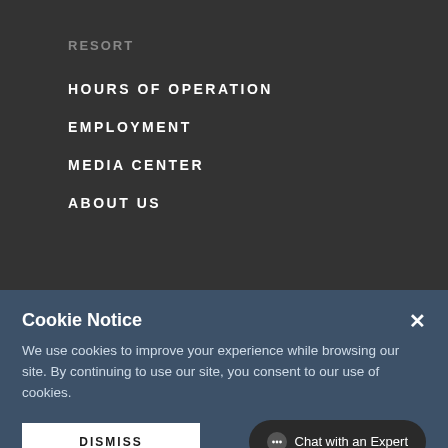RESORT
HOURS OF OPERATION
EMPLOYMENT
MEDIA CENTER
ABOUT US
Cookie Notice
We use cookies to improve your experience while browsing our site. By continuing to use our site, you consent to our use of cookies.
DISMISS
Chat with an Expert